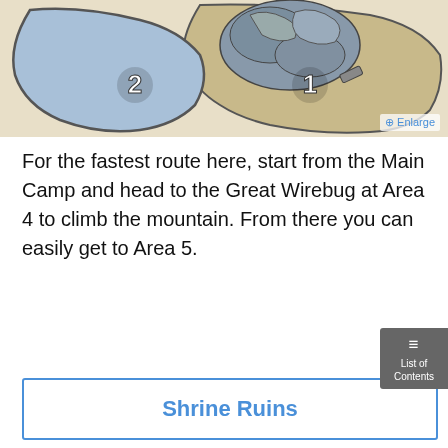[Figure (map): Game map screenshot showing area with numbered zones (1 and 2), featuring blue/grey terrain regions with outlines, beige/tan colored areas, and a small enlarge button in the bottom right corner.]
For the fastest route here, start from the Main Camp and head to the Great Wirebug at Area 4 to climb the mountain. From there you can easily get to Area 5.
Shrine Ruins
[Figure (screenshot): Advertisement screenshot showing a large letter T on a dark background with a BitLife ad overlay at the bottom reading FAIL START A NEW LIFE.]